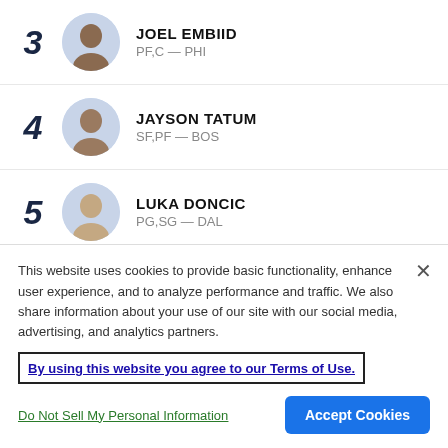3 JOEL EMBIID PF,C — PHI
4 JAYSON TATUM SF,PF — BOS
5 LUKA DONCIC PG,SG — DAL
6 KEVIN DURANT SF,PF — BKN
This website uses cookies to provide basic functionality, enhance user experience, and to analyze performance and traffic. We also share information about your use of our site with our social media, advertising, and analytics partners.
By using this website you agree to our Terms of Use.
Do Not Sell My Personal Information
Accept Cookies